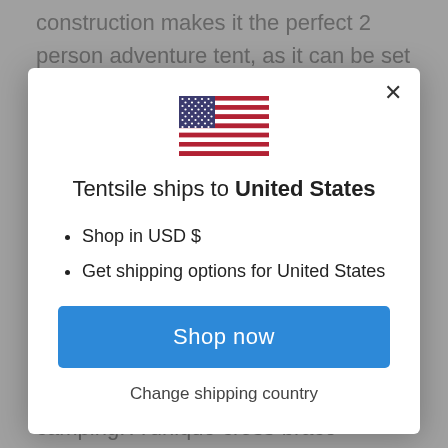construction makes it the perfect 2 person adventure tent, as it can be set up over any terrain AND on the floor,
[Figure (illustration): US flag icon displayed in modal dialog]
Tentsile ships to United States
Shop in USD $
Get shipping options for United States
Shop now
Change shipping country
middle that turns the floor into one or two hammock berths for solo or dual camping. A unique cross-brace